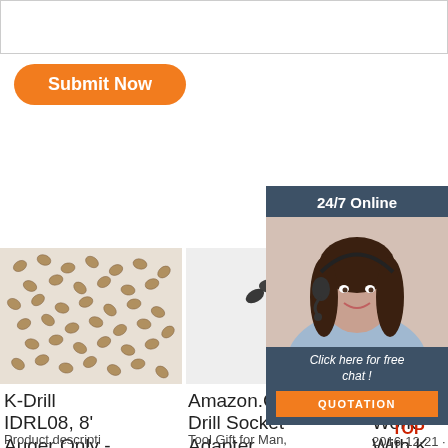[Figure (screenshot): Textarea input field at top of page]
[Figure (screenshot): Orange rounded 'Submit Now' button]
[Figure (screenshot): 24/7 Online chat panel with photo of woman with headset on dark blue background, 'Click here for free chat!' text, orange QUOTATION button]
[Figure (photo): Array of many small K-Drill rock drill bits laid out on white surface]
[Figure (photo): Single black drill socket adapter tool on white background]
[Figure (photo): Gold-colored drill bits, partially visible]
K-Drill IDRL08, 8' Auger Only - - Amazon.Com
Product descripti
Amazon.Com: Cla Drill Socket Adapter
Tool Gift for Man, 3-Piece Power D rill Sockets Adap
Plate To Work With K Drill? - Ice Fishing
2016-12-21 · X2